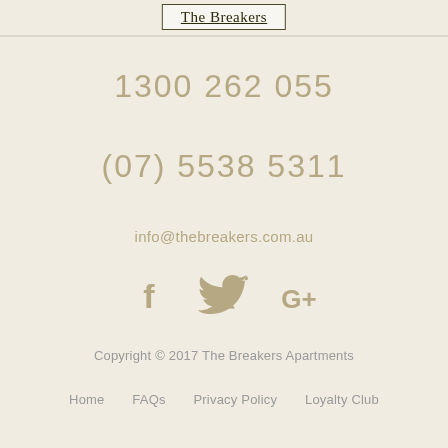The Breakers
1300 262 055
(07) 5538 5311
info@thebreakers.com.au
[Figure (illustration): Social media icons: Facebook, Twitter, Google+]
Copyright © 2017 The Breakers Apartments
Home    FAQs    Privacy Policy    Loyalty Club